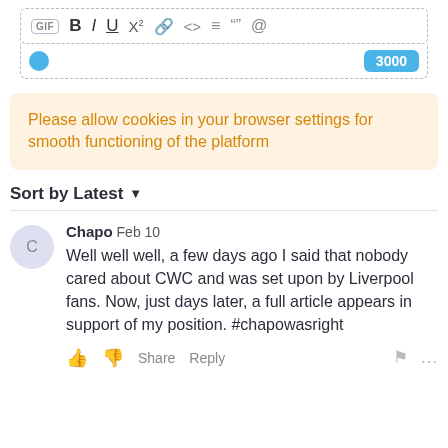[Figure (screenshot): Text editor toolbar with GIF, Bold, Italic, Underline, Superscript X², link, code, list, quote, and @ icons]
3000
Please allow cookies in your browser settings for smooth functioning of the platform
Sort by Latest ▼
Chapo Feb 10
Well well well, a few days ago I said that nobody cared about CWC and was set upon by Liverpool fans. Now, just days later, a full article appears in support of my position. #chapowasright